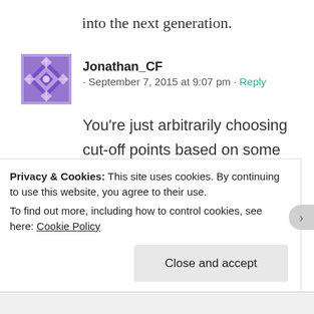into the next generation.
Jonathan_CF · September 7, 2015 at 9:07 pm · Reply
You're just arbitrarily choosing cut-off points based on some highly subjective definition of 'coming-of-age' — as if ages aren't abstract categories and
Privacy & Cookies: This site uses cookies. By continuing to use this website, you agree to their use.
To find out more, including how to control cookies, see here: Cookie Policy
Close and accept